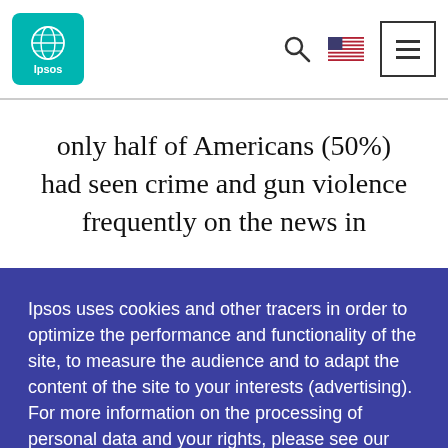[Figure (logo): Ipsos logo — teal/green rounded square with globe icon and 'Ipsos' text in white]
only half of Americans (50%) had seen crime and gun violence frequently on the news in
Ipsos uses cookies and other tracers in order to optimize the performance and functionality of the site, to measure the audience and to adapt the content of the site to your interests (advertising). For more information on the processing of personal data and your rights, please see our
I accept all
Customise Settings